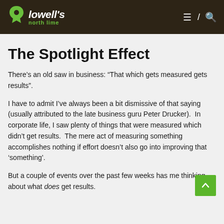lowell's north lime
The Spotlight Effect
There’s an old saw in business: “That which gets measured gets results”.
I have to admit I’ve always been a bit dismissive of that saying (usually attributed to the late business guru Peter Drucker).  In corporate life, I saw plenty of things that were measured which didn’t get results.  The mere act of measuring something accomplishes nothing if effort doesn’t also go into improving that ‘something’.
But a couple of events over the past few weeks has me thinking about what does get results.